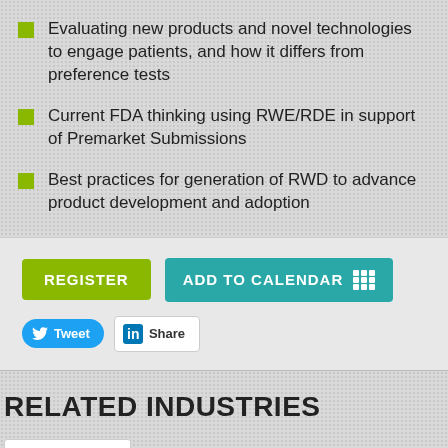Evaluating new products and novel technologies to engage patients, and how it differs from preference tests
Current FDA thinking using RWE/RDE in support of Premarket Submissions
Best practices for generation of RWD to advance product development and adoption
[Figure (infographic): Register button (olive green), Add to Calendar button (teal with grid icon), Tweet button (blue with Twitter bird), Share button (white with LinkedIn logo)]
RELATED INDUSTRIES
Healthcare »